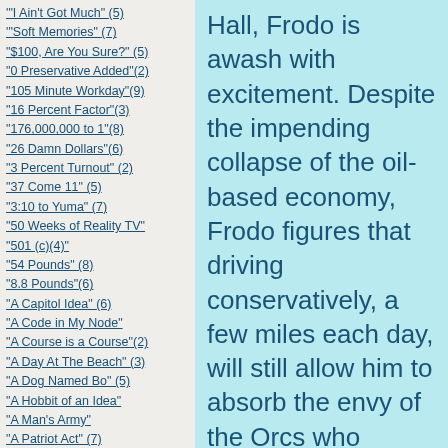"I Ain't Got Much" (5)
"Soft Memories" (7)
"$100, Are You Sure?" (5)
"0 Preservative Added"(2)
"105 Minute Workday"(9)
"16 Percent Factor"(3)
"176,000,000 to 1"(8)
"26 Damn Dollars"(6)
"3 Percent Turnout" (2)
"37 Come 11" (5)
"3:10 to Yuma" (7)
"50 Weeks of Reality TV"
"501 (c)(4)"
"54 Pounds" (8)
"8.8 Pounds"(6)
"A Capitol Idea" (6)
"A Code in My Node"
"A Course is a Course"(2)
"A Day At The Beach" (3)
"A Dog Named Bo" (5)
"A Hobbit of an Idea"
"A Man's Army"
"A Patriot Act" (7)
"A Patriotic Act"
"A Perfect World"
"A soldier booed?'(7)
"A Space Odyssey" (4)
"A Taxing Story" (5)
Hall, Frodo is awash with excitement. Despite the impending collapse of the oil-based economy, Frodo figures that driving conservatively, a few miles each day, will still allow him to absorb the envy of the Orcs who inhabit the lands about the Shire. Frodo believes it is the ultimate narcotic for the Progressive; to have a Republican salivating over his brand new motorcar. The best part though, is when they see the sticker on the rear window that says, "W-orst President Ever."
Symbols of opulence have never meant very much to Frodo. There is something